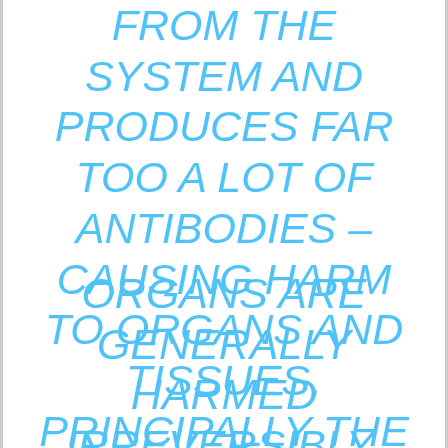FROM THE SYSTEM AND PRODUCES FAR TOO A LOT OF ANTIBODIES – CAUSING HARM TO ORGANS AND TISSUES, PRINCIPALLY THE KIDNEYS AND SKIN.
ORGANS ARE GENERALLY HARMED IRREVERSIBLY, THIS MEANS SEVERAL LUPUS VICTIMS HAVE TRANSPLANTS.